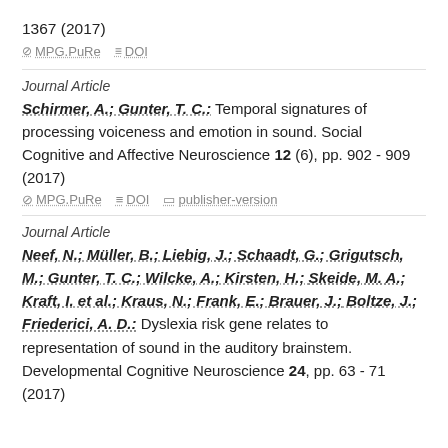1367 (2017)
MPG.PuRe   DOI
Journal Article
Schirmer, A.; Gunter, T. C.: Temporal signatures of processing voiceness and emotion in sound. Social Cognitive and Affective Neuroscience 12 (6), pp. 902 - 909 (2017)
MPG.PuRe   DOI   publisher-version
Journal Article
Neef, N.; Müller, B.; Liebig, J.; Schaadt, G.; Grigutsch, M.; Gunter, T. C.; Wilcke, A.; Kirsten, H.; Skeide, M. A.; Kraft, I. et al.; Kraus, N.; Frank, E.; Brauer, J.; Boltze, J.; Friederici, A. D.: Dyslexia risk gene relates to representation of sound in the auditory brainstem. Developmental Cognitive Neuroscience 24, pp. 63 - 71 (2017)